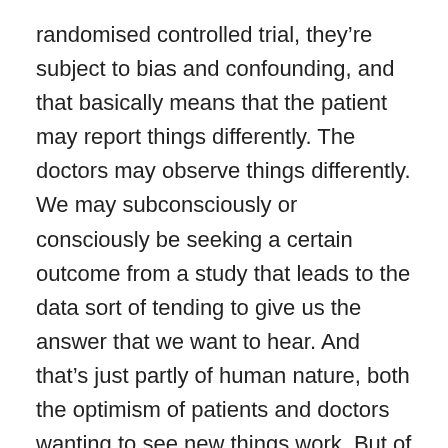randomised controlled trial, they're subject to bias and confounding, and that basically means that the patient may report things differently. The doctors may observe things differently. We may subconsciously or consciously be seeking a certain outcome from a study that leads to the data sort of tending to give us the answer that we want to hear. And that's just partly of human nature, both the optimism of patients and doctors wanting to see new things work. But of course, there are lots of examples where in the past things we thought worked and we thought the data was telling us that they worked, when you actually conduct the study really well and